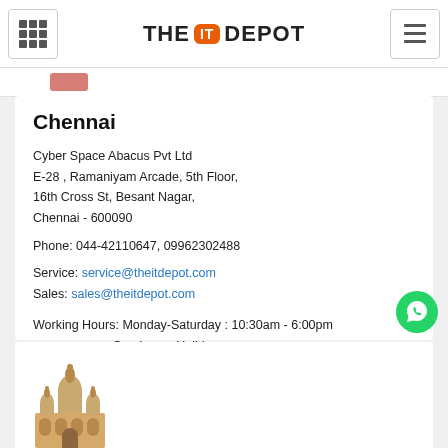THE IT DEPOT
Chennai
Cyber Space Abacus Pvt Ltd
E-28 , Ramaniyam Arcade, 5th Floor,
16th Cross St, Besant Nagar,
Chennai - 600090
Phone: 044-42110647, 09962302488
Service: service@theitdepot.com
Sales: sales@theitdepot.com
Working Hours: Monday-Saturday : 10:30am - 6:00pm
                        Sunday    : Holiday
[Figure (illustration): Building/monument illustration at bottom of page]